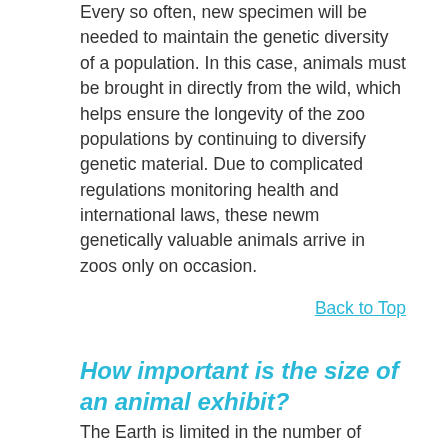Every so often, new specimen will be needed to maintain the genetic diversity of a population. In this case, animals must be brought in directly from the wild, which helps ensure the longevity of the zoo populations by continuing to diversify genetic material. Due to complicated regulations monitoring health and international laws, these newm genetically valuable animals arrive in zoos only on occasion.
Back to Top
How important is the size of an animal exhibit?
The Earth is limited in the number of acres available for development. With